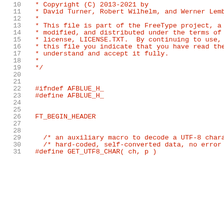Source code listing lines 10-31 of a C header file (afblue.h) from the FreeType project
10   * Copyright (C) 2013-2021 by
11   * David Turner, Robert Wilhelm, and Werner Lemb
12   *
13   * This file is part of the FreeType project, a
14   * modified, and distributed under the terms of
15   * license, LICENSE.TXT.  By continuing to use,
16   * this file you indicate that you have read the
17   * understand and accept it fully.
18   *
19   */
20
21
22  #ifndef AFBLUE_H_
23  #define AFBLUE_H_
24
25
26  FT_BEGIN_HEADER
27
28
29    /* an auxiliary macro to decode a UTF-8 chara
30    /* hard-coded, self-converted data, no error c
31  #define GET_UTF8_CHAR( ch, p )